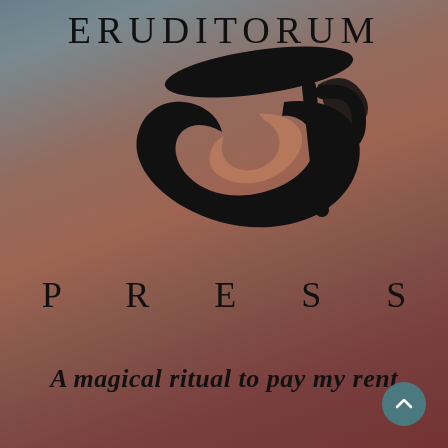ERUDITORUM
[Figure (logo): Eruditorum Press stylized 'EP' logo with flowing calligraphic letterforms in black]
PRESS
A magical ritual to pay my rent